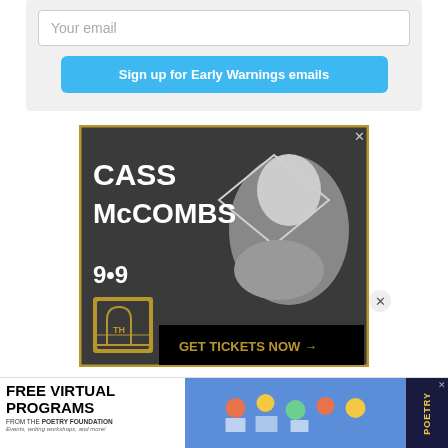Your email
Sign up for Early Warnings emails
[Figure (screenshot): Advertisement for Cass McCombs concert on 9.9 with a black and white photo of a person holding a diamond-shaped object. Text: CASS McCOMBS, 9.9, GET TICKETS NOW →, TH logo]
[Figure (screenshot): Advertisement banner for Free Virtual Programs from the Poetry Foundation. Events, writing workshops, and more!]